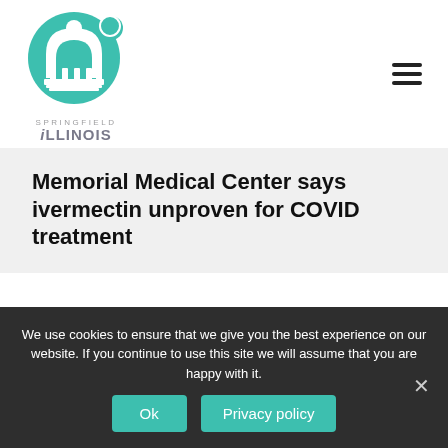[Figure (logo): Springfield Illinois city logo with teal dome/arch icon and circular background]
Memorial Medical Center says ivermectin unproven for COVID treatment
Type Here...
We use cookies to ensure that we give you the best experience on our website. If you continue to use this site we will assume that you are happy with it.
Ok
Privacy policy